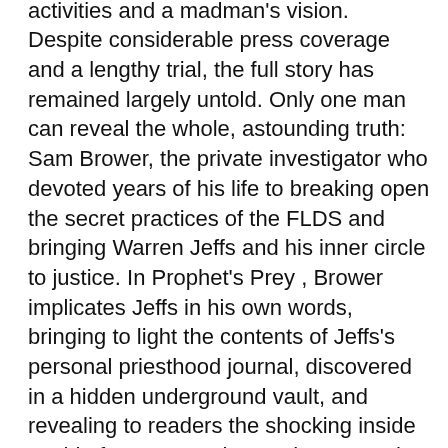façade of religion to further criminal activities and a madman's vision. Despite considerable press coverage and a lengthy trial, the full story has remained largely untold. Only one man can reveal the whole, astounding truth: Sam Brower, the private investigator who devoted years of his life to breaking open the secret practices of the FLDS and bringing Warren Jeffs and his inner circle to justice. In Prophet's Prey , Brower implicates Jeffs in his own words, bringing to light the contents of Jeffs's personal priesthood journal, discovered in a hidden underground vault, and revealing to readers the shocking inside world of FLDS members, whose trust he earned and who showed him the staggering truth of their lives. Prophet's Prey offers the gripping, behind-the-scenes account of a bizarre world from the only man who knows the full story.